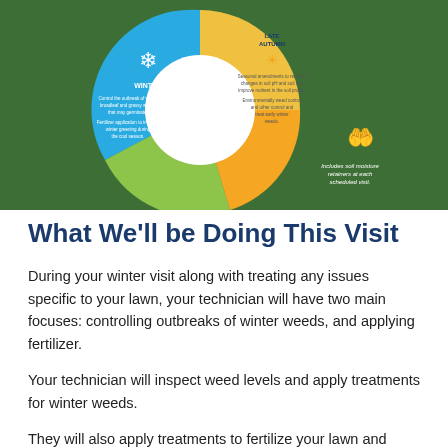[Figure (infographic): Seasonal lawn care wheel diagram showing Winter and Late Autumn sections on a green grass background. Winter section (blue) mentions controlling winter broadleaf and grassy weeds and fertilizer application to improve winter greening during the cool season. Late Autumn section (yellow/green) mentions seasonal amendments to regulate changes in soil pH and an icon for soil moisture retainers at each scheduled visit.]
What We'll be Doing This Visit
During your winter visit along with treating any issues specific to your lawn, your technician will have two main focuses: controlling outbreaks of winter weeds, and applying fertilizer.
Your technician will inspect weed levels and apply treatments for winter weeds.
They will also apply treatments to fertilize your lawn and improve winter greening during the cooler seasons!
Our technicians are always happy to answer any questions you may have about your treatments, so don't hesitate to